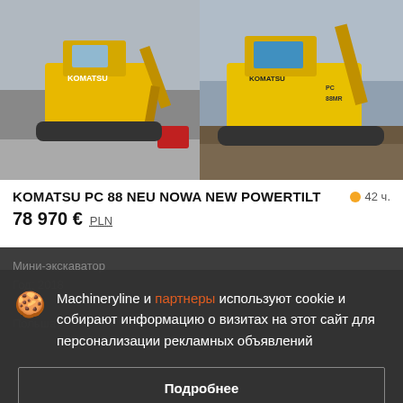[Figure (photo): Two Komatsu mini excavator photos side by side. Left: yellow Komatsu excavator with red attachment in a yard. Right: yellow Komatsu PC 88 excavator on a job site.]
KOMATSU PC 88 NEU NOWA NEW POWERTILT
42 ч.
78 970 € PLN
Мини-экскаватор
Годы: 2018
Польша
Machineryline и партнеры используют cookie и собирают информацию о визитах на этот сайт для персонализации рекламных объявлений
Подробнее
Согласиться и закрыть